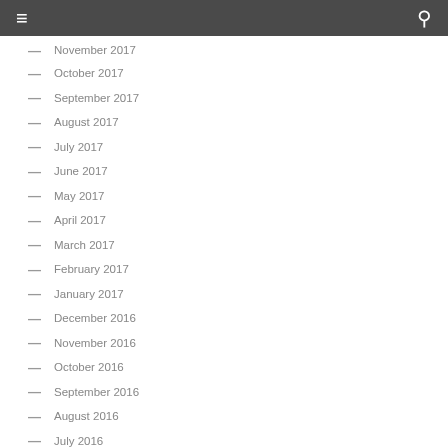≡  🔍
November 2017
October 2017
September 2017
August 2017
July 2017
June 2017
May 2017
April 2017
March 2017
February 2017
January 2017
December 2016
November 2016
October 2016
September 2016
August 2016
July 2016